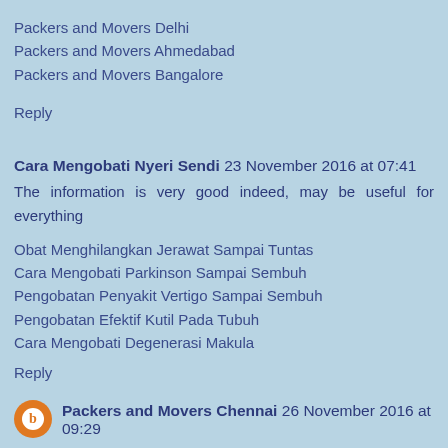Packers and Movers Delhi
Packers and Movers Ahmedabad
Packers and Movers Bangalore
Reply
Cara Mengobati Nyeri Sendi  23 November 2016 at 07:41
The information is very good indeed, may be useful for everything
Obat Menghilangkan Jerawat Sampai Tuntas
Cara Mengobati Parkinson Sampai Sembuh
Pengobatan Penyakit Vertigo Sampai Sembuh
Pengobatan Efektif Kutil Pada Tubuh
Cara Mengobati Degenerasi Makula
Reply
Packers and Movers Chennai  26 November 2016 at 09:29